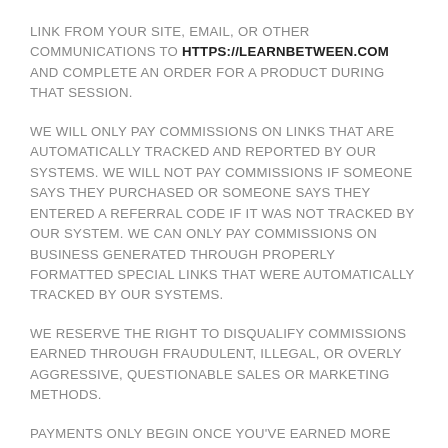LINK FROM YOUR SITE, EMAIL, OR OTHER COMMUNICATIONS TO HTTPS://LEARNBETWEEN.COM AND COMPLETE AN ORDER FOR A PRODUCT DURING THAT SESSION.
WE WILL ONLY PAY COMMISSIONS ON LINKS THAT ARE AUTOMATICALLY TRACKED AND REPORTED BY OUR SYSTEMS. WE WILL NOT PAY COMMISSIONS IF SOMEONE SAYS THEY PURCHASED OR SOMEONE SAYS THEY ENTERED A REFERRAL CODE IF IT WAS NOT TRACKED BY OUR SYSTEM. WE CAN ONLY PAY COMMISSIONS ON BUSINESS GENERATED THROUGH PROPERLY FORMATTED SPECIAL LINKS THAT WERE AUTOMATICALLY TRACKED BY OUR SYSTEMS.
WE RESERVE THE RIGHT TO DISQUALIFY COMMISSIONS EARNED THROUGH FRAUDULENT, ILLEGAL, OR OVERLY AGGRESSIVE, QUESTIONABLE SALES OR MARKETING METHODS.
PAYMENTS ONLY BEGIN ONCE YOU'VE EARNED MORE THAN